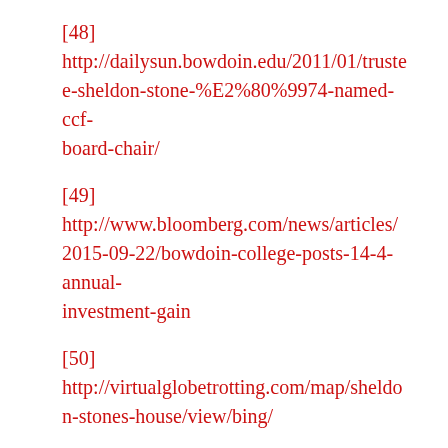[48] http://dailysun.bowdoin.edu/2011/01/trustee-sheldon-stone-%E2%80%9974-named-ccf-board-chair/
[49] http://www.bloomberg.com/news/articles/2015-09-22/bowdoin-college-posts-14-4-annual-investment-gain
[50] http://virtualglobetrotting.com/map/sheldon-stones-house/view/bing/
[51] http://www.environment.ucla.edu/people/board.php
[52] http://giveto.ucla.edu/the-centennial-campaign/